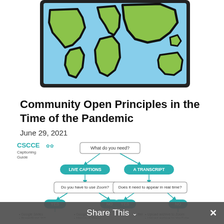[Figure (illustration): Illustration of a world map on a light blue background with green continents and thick black outlines, displayed on what appears to be a tablet or screen frame]
Community Open Principles in the Time of the Pandemic
June 29, 2021
[Figure (flowchart): CSCCE Captioning Guide flowchart starting with 'What do you need?' branching into 'LIVE CAPTIONS' and 'A TRANSCRIPT', then further branching into sub-questions about Zoom usage and real-time appearance, with YES/NO decision nodes, and bottom options including Google Slides, PowerPoint 365, Google Meet, Microsoft Teams, Twitter, Upload archive to Zoom, Upload archive to YouTube]
Share This